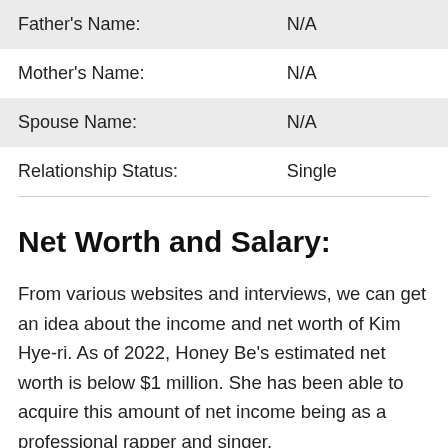| Father's Name: | N/A |
| Mother's Name: | N/A |
| Spouse Name: | N/A |
| Relationship Status: | Single |
Net Worth and Salary:
From various websites and interviews, we can get an idea about the income and net worth of Kim Hye-ri. As of 2022, Honey Be's estimated net worth is below $1 million. She has been able to acquire this amount of net income being as a professional rapper and singer.